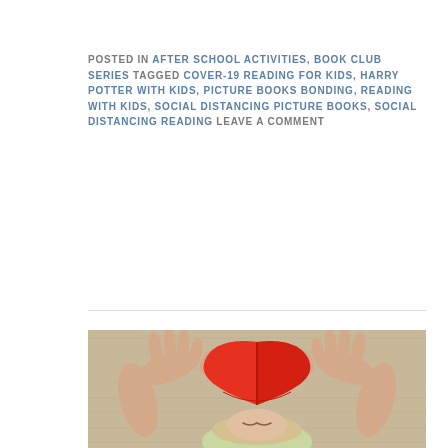POSTED IN AFTER SCHOOL ACTIVITIES, BOOK CLUB SERIES TAGGED COVER-19 READING FOR KIDS, HARRY POTTER WITH KIDS, PICTURE BOOKS BONDING, READING WITH KIDS, SOCIAL DISTANCING PICTURE BOOKS, SOCIAL DISTANCING READING LEAVE A COMMENT
[Figure (photo): Child lying on floor holding a heart-shaped red book open above their face, with hands spread on either side of the book, viewed from above]